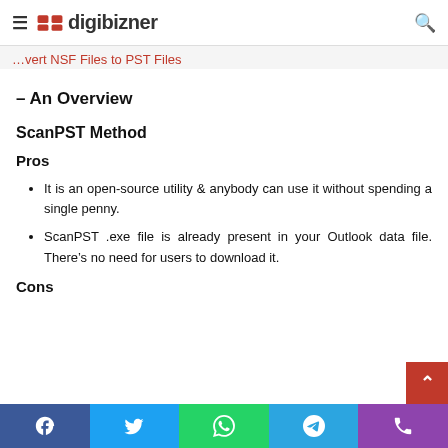digibizner — Convert NSF Files to PST Files – An Overview
ScanPST Method
Pros
It is an open-source utility & anybody can use it without spending a single penny.
ScanPST .exe file is already present in your Outlook data file. There's no need for users to download it.
Cons